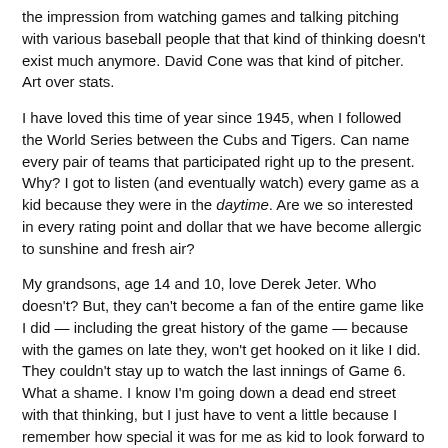the impression from watching games and talking pitching with various baseball people that that kind of thinking doesn't exist much anymore. David Cone was that kind of pitcher. Art over stats.
I have loved this time of year since 1945, when I followed the World Series between the Cubs and Tigers. Can name every pair of teams that participated right up to the present. Why? I got to listen (and eventually watch) every game as a kid because they were in the daytime. Are we so interested in every rating point and dollar that we have become allergic to sunshine and fresh air?
My grandsons, age 14 and 10, love Derek Jeter. Who doesn't? But, they can't become a fan of the entire game like I did — including the great history of the game — because with the games on late they, won't get hooked on it like I did. They couldn't stay up to watch the last innings of Game 6. What a shame. I know I'm going down a dead end street with that thinking, but I just have to vent a little because I remember how special it was for me as kid to look forward to hanging on every pitch.
Well, it's been a great month to be a fan and it may have created a few new ones….Now it's time to study the horses for the Breeders Cup